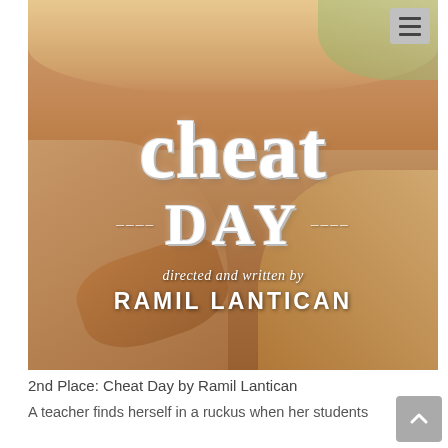[Figure (photo): Movie poster for 'Cheat Day' directed and written by Ramil Lantican. Background shows a smiling person with warm skin tones. White stylized text overlaid showing 'cheat Day' in large decorative font, with 'directed and written by' in italic and 'RAMIL LANTICAN' in bold caps below.]
2nd Place: Cheat Day by Ramil Lantican
A teacher finds herself in a ruckus when her students